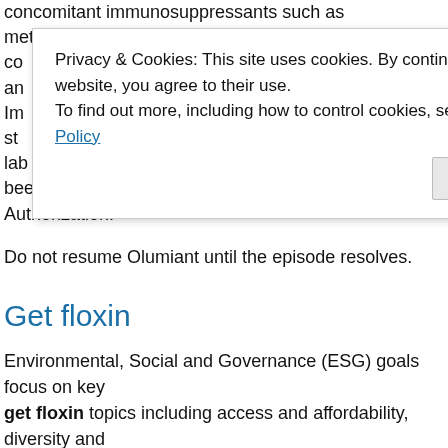concomitant immunosuppressants such as methotrexate or co... me an... ic Im... st... ic lab... as been authorized for use under an Emergency Use Authorization.
Privacy & Cookies: This site uses cookies. By continuing to use this website, you agree to their use.
To find out more, including how to control cookies, see here: Cookie Policy
Do not resume Olumiant until the episode resolves.
Get floxin
Environmental, Social and Governance (ESG) goals focus on key get floxin topics including access and affordability, diversity and inclusion, floxin best price racial justice and the environment - New ESG portal, esg. Results from first network meta-analysis based on area under the curve of 52-week clinical trial data - -Taltz also